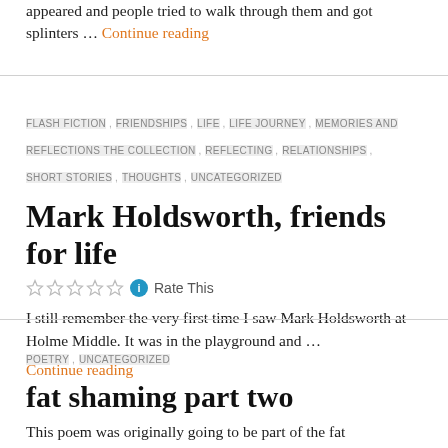appeared and people tried to walk through them and got splinters … Continue reading
FLASH FICTION ,  FRIENDSHIPS ,  LIFE ,  LIFE JOURNEY ,  MEMORIES AND REFLECTIONS THE COLLECTION ,  REFLECTING ,  RELATIONSHIPS ,  SHORT STORIES ,  THOUGHTS ,  UNCATEGORIZED
Mark Holdsworth, friends for life
Rate This
I still remember the very first time I saw Mark Holdsworth at Holme Middle. It was in the playground and … Continue reading
POETRY ,  UNCATEGORIZED
fat shaming part two
This poem was originally going to be part of the fat